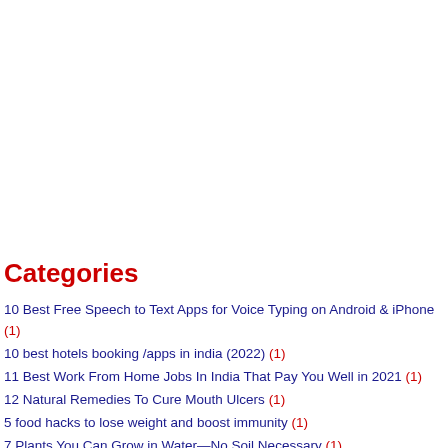Categories
10 Best Free Speech to Text Apps for Voice Typing on Android & iPhone (1)
10 best hotels booking /apps in india (2022) (1)
11 Best Work From Home Jobs In India That Pay You Well in 2021 (1)
12 Natural Remedies To Cure Mouth Ulcers (1)
5 food hacks to lose weight and boost immunity (1)
7 Plants You Can Grow in Water—No Soil Necessary (1)